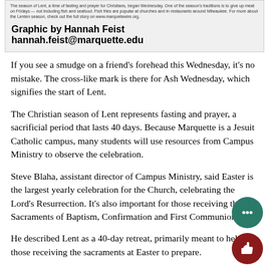The season of Lent, a time of fasting and prayer for Christians, began Wednesday. One of the season's traditions is to give up meat on Fridays — not including fish and seafood. Fish fries are popular at churches and in restaurants around Milwaukee. For more about the Lenten season, check out the full story on www.marquetewire.org.
Graphic by Hannah Feist hannah.feist@marquette.edu
If you see a smudge on a friend's forehead this Wednesday, it's no mistake. The cross-like mark is there for Ash Wednesday, which signifies the start of Lent.
The Christian season of Lent represents fasting and prayer, a sacrificial period that lasts 40 days. Because Marquette is a Jesuit Catholic campus, many students will use resources from Campus Ministry to observe the celebration.
Steve Blaha, assistant director of Campus Ministry, said Easter is the largest yearly celebration for the Church, celebrating the Lord's Resurrection. It's also important for those receiving the Sacraments of Baptism, Confirmation and First Communion.
He described Lent as a 40-day retreat, primarily meant to help those receiving the sacraments at Easter to prepare.